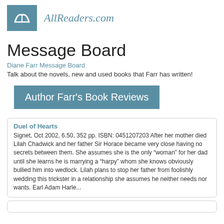AllReaders.com
Message Board
Diane Farr Message Board
Talk about the novels, new and used books that Farr has written!
Author Farr's Book Reviews
Duel of Hearts
Signet, Oct 2002, 6.50, 352 pp. ISBN: 0451207203 After her mother died Lilah Chadwick and her father Sir Horace became very close having no secrets between them. She assumes she is the only “woman” for her dad until she learns he is marrying a “harpy” whom she knows obviously bullied him into wedlock. Lilah plans to stop her father from foolishly wedding this trickster in a relationship she assumes he neither needs nor wants. Earl Adam Harle...